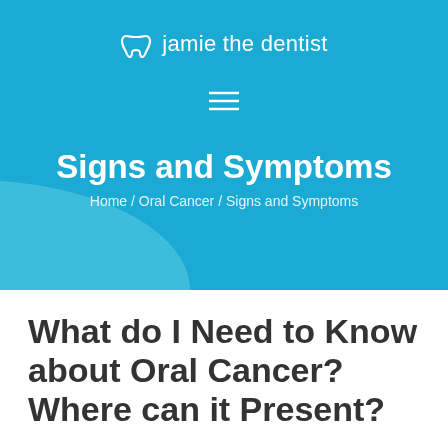jamie the dentist
Signs and Symptoms
Home / Oral Cancer / Signs and Symptoms
What do I Need to Know about Oral Cancer? Where can it Present?
As we said in our introduction, you can get oral